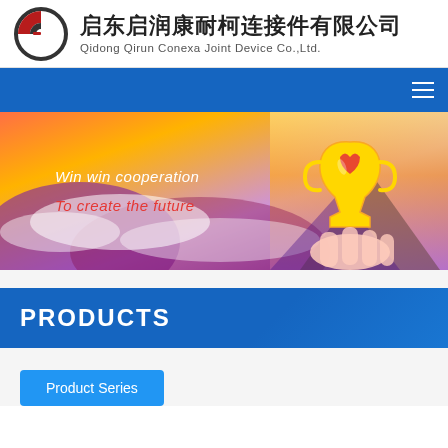启东启润康耐柯连接件有限公司 Qidong Qirun Conexa Joint Device Co.,Ltd.
[Figure (screenshot): Navigation bar with blue background and hamburger menu icon on the right]
[Figure (photo): Banner image with purple mountain clouds background, a golden trophy held by hands on the right side, and text 'Win win cooperation' and 'To create the future']
PRODUCTS
Product Series